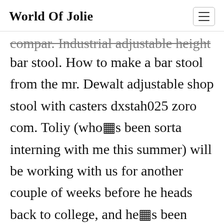World Of Jolie
compar. Industrial adjustable height bar stool. How to make a bar stool from the mr. Dewalt adjustable shop stool with casters dxstah025 zoro com. Toliy (who�s been sorta interning with me this summer) will be working with us for another couple of weeks before he heads back to college, and he�s been wanting to make an adjustable height stool to match the sawhorse desk we made a while back.